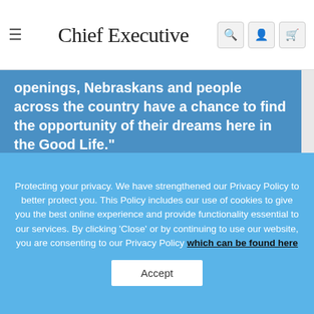Chief Executive
openings, Nebraskans and people across the country have a chance to find the opportunity of their dreams here in the Good Life."
Pete Ricketts
Governor
Protecting your privacy. We have strengthened our Privacy Policy to better protect you. This Policy includes our use of cookies to give you the best online experience and provide functionality essential to our services. By clicking 'Close' or by continuing to use our website, you are consenting to our Privacy Policy which can be found here
Accept